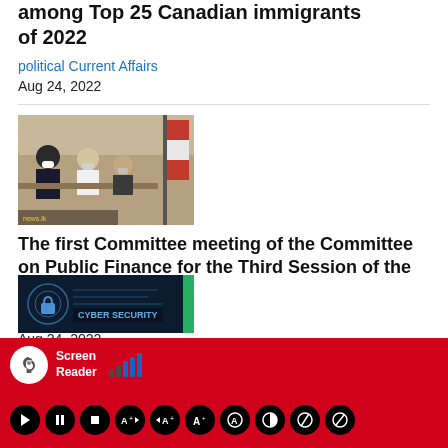among Top 25 Canadian immigrants of 2022
political Current Affairs
Aug 24, 2022
[Figure (photo): People in a committee meeting room with masks, a flag visible in background, news.lk watermark]
The first Committee meeting of the Committee on Public Finance for the Third Session of the Ninth Parliament
political Current Affairs
Aug 24, 2022
[Figure (photo): Cyber security themed image with dark background and lock icon, CYBER SECURITY text visible]
[Figure (screenshot): Screen Reader accessibility toolbar with red background showing play, pause, stop and other controls]